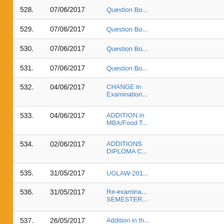| # | Date | Title |
| --- | --- | --- |
| 528. | 07/06/2017 | Question Bo... |
| 529. | 07/06/2017 | Question Bo... |
| 530. | 07/06/2017 | Question Bo... |
| 531. | 07/06/2017 | Question Bo... |
| 532. | 04/06/2017 | CHANGE in Examination... |
| 533. | 04/06/2017 | ADDITION in MBA/Food T... |
| 534. | 02/06/2017 | ADDITIONS DIPLOMA C... |
| 535. | 31/05/2017 | UGLAW-201... |
| 536. | 31/05/2017 | Re-examina... SEMESTER... |
| 537. | 26/05/2017 | Addition in th... Semester (R... |
| 538. | 26/05/2017 | Addition in th... SYLLABUS)... |
| 539. | 25/05/2017 | Change in th... Disability)-4t... |
| 540. | 25/05/2017 | CHANGE in Examination... |